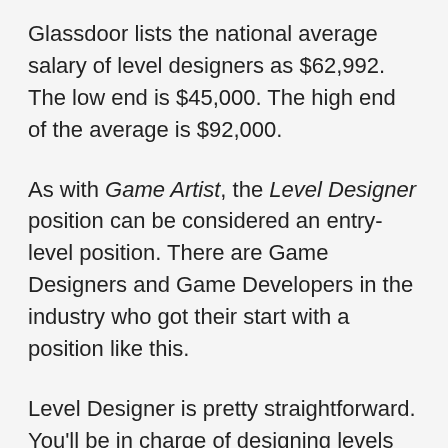Glassdoor lists the national average salary of level designers as $62,992. The low end is $45,000. The high end of the average is $92,000.
As with Game Artist, the Level Designer position can be considered an entry-level position. There are Game Designers and Game Developers in the industry who got their start with a position like this.
Level Designer is pretty straightforward. You'll be in charge of designing levels for a game. Houses, castles, mountains, grottos–you'll be designing and editing the environments needed for the project.
You'll answer to the Game Designer and the Lead Artist on the project. That doesn't mean you won't have the freedom to get creative. You'll have a